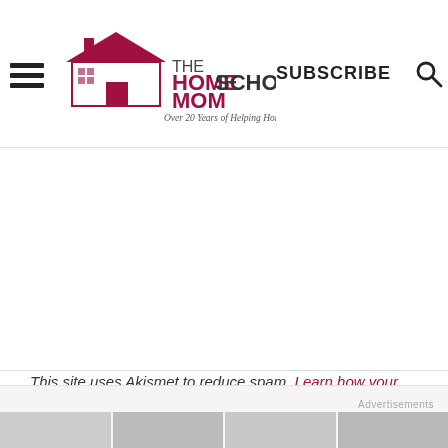THE HOME SCHOOL MOM — Over 20 Years of Helping Homeschoolers! | SUBSCRIBE
This site uses Akismet to reduce spam. Learn how your comment data is processed.
Advertisements